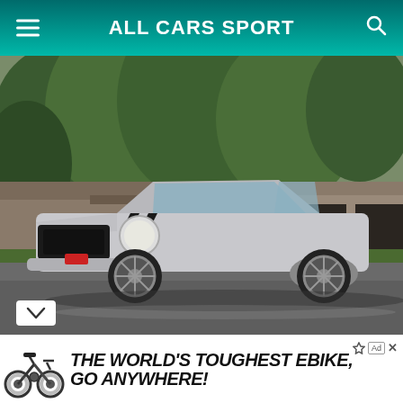ALL CARS SPORT
[Figure (photo): Classic silver Chevrolet Camaro Z28 (early 1970s) parked in a driveway in front of a low ranch-style house with attached garage, surrounded by lush green trees. The car has black racing stripes on the hood and large chrome aftermarket wheels.]
THE WORLD'S TOUGHEST EBIKE, GO ANYWHERE!